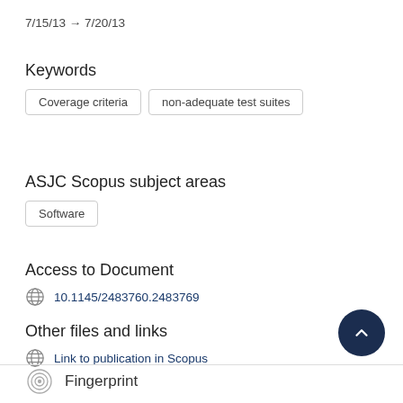7/15/13 → 7/20/13
Keywords
Coverage criteria
non-adequate test suites
ASJC Scopus subject areas
Software
Access to Document
10.1145/2483760.2483769
Other files and links
Link to publication in Scopus
Fingerprint